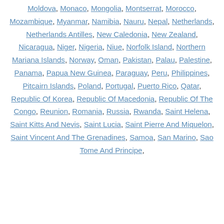Moldova, Monaco, Mongolia, Montserrat, Morocco, Mozambique, Myanmar, Namibia, Nauru, Nepal, Netherlands, Netherlands Antilles, New Caledonia, New Zealand, Nicaragua, Niger, Nigeria, Niue, Norfolk Island, Northern Mariana Islands, Norway, Oman, Pakistan, Palau, Palestine, Panama, Papua New Guinea, Paraguay, Peru, Philippines, Pitcairn Islands, Poland, Portugal, Puerto Rico, Qatar, Republic Of Korea, Republic Of Macedonia, Republic Of The Congo, Reunion, Romania, Russia, Rwanda, Saint Helena, Saint Kitts And Nevis, Saint Lucia, Saint Pierre And Miquelon, Saint Vincent And The Grenadines, Samoa, San Marino, Sao Tome And Principe,